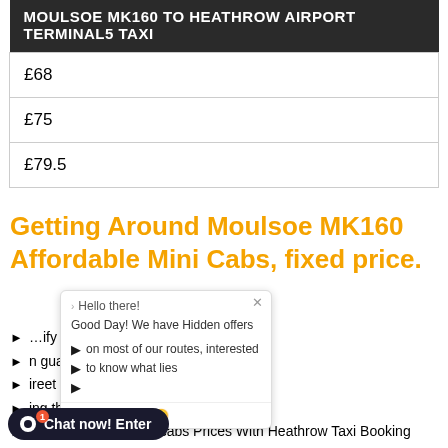| MOULSOE MK160 TO HEATHROW AIRPORT TERMINAL5 TAXI |
| --- |
| £68 |
| £75 |
| £79.5 |
Getting Around Moulsoe MK160 Affordable Mini Cabs, fixed price.
… guarantee
…reet service
…ing the best price
Compare 100 above cabs Prices With Heathrow Taxi Booking